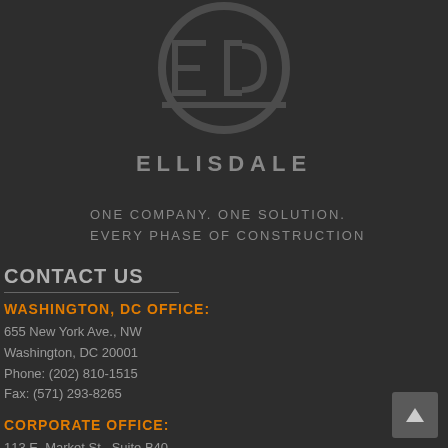[Figure (logo): Ellisdale company logo: circular emblem with E and D letters intertwined, above the text ELLISDALE in bold spaced letters]
ONE COMPANY. ONE SOLUTION.
EVERY PHASE OF CONSTRUCTION
CONTACT US
WASHINGTON, DC OFFICE:
655 New York Ave., NW
Washington, DC 20001
Phone: (202) 810-1515
Fax: (571) 293-8265
CORPORATE OFFICE:
113 E. Market St., Suite B40